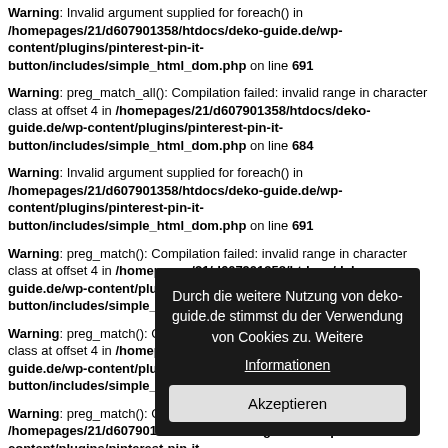Warning: Invalid argument supplied for foreach() in /homepages/21/d607901358/htdocs/deko-guide.de/wp-content/plugins/pinterest-pin-it-button/includes/simple_html_dom.php on line 691
Warning: preg_match_all(): Compilation failed: invalid range in character class at offset 4 in /homepages/21/d607901358/htdocs/deko-guide.de/wp-content/plugins/pinterest-pin-it-button/includes/simple_html_dom.php on line 684
Warning: Invalid argument supplied for foreach() in /homepages/21/d607901358/htdocs/deko-guide.de/wp-content/plugins/pinterest-pin-it-button/includes/simple_html_dom.php on line 691
Warning: preg_match(): Compilation failed: invalid range in character class at offset 4 in /homepages/21/d607901358/htdocs/deko-guide.de/wp-content/plugins/pinterest-pin-it-button/includes/simple_html_dom.php on line 1364
Warning: preg_match(): Compilation failed: invalid range in character class at offset 4 in /homepages/21/d607901358/htdocs/deko-guide.de/wp-content/plugins/pinterest-pin-it-button/includes/simple_html_dom.php on line 1364
Warning: preg_match(): Compilation failed: invalid range in character class at offset 4 in /homepages/21/d607901358/htdocs/deko-guide.de/wp-content/plugins/pinterest-pin-it-button/includes/simple_html_dom.php on line 1364
[Figure (screenshot): Cookie consent overlay dialog with text 'Durch die weitere Nutzung von deko-guide.de stimmst du der Verwendung von Cookies zu. Weitere Informationen' and an 'Akzeptieren' button]